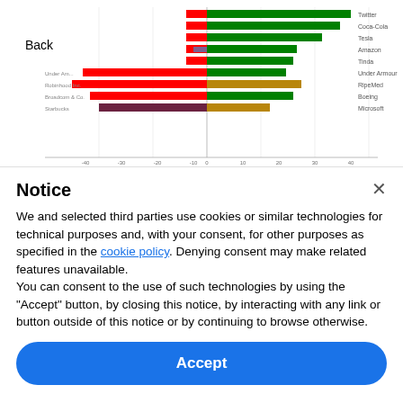[Figure (bar-chart): A horizontal diverging bar chart with red bars (losses) on left and green/gold bars (gains) on right for companies including Twitter, Coca-Cola, Tesla, Amazon, Tinda, Under Armour, RipeMed, Boeing, Microsoft and others. A 'Back' button label is visible in the upper left of the chart area.]
Notice
We and selected third parties use cookies or similar technologies for technical purposes and, with your consent, for other purposes as specified in the cookie policy. Denying consent may make related features unavailable.
You can consent to the use of such technologies by using the "Accept" button, by closing this notice, by interacting with any link or button outside of this notice or by continuing to browse otherwise.